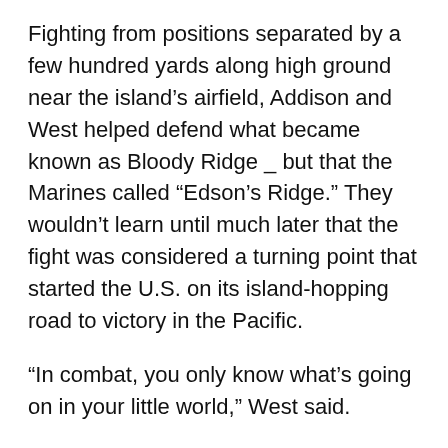Fighting from positions separated by a few hundred yards along high ground near the island's airfield, Addison and West helped defend what became known as Bloody Ridge _ but that the Marines called “Edson’s Ridge.” They wouldn’t learn until much later that the fight was considered a turning point that started the U.S. on its island-hopping road to victory in the Pacific.
“In combat, you only know what’s going on in your little world,” West said.
Edson was awarded the Medal of Honor for his front-line leadership during the battle, during which his Raiders suffered more than 250 killed and wounded. Bigger, bloodier battles awaited, but Edson’s Ridge and the Raiders hold a special place among leathernecks of all generations, according to Beth Crumley, a historian with